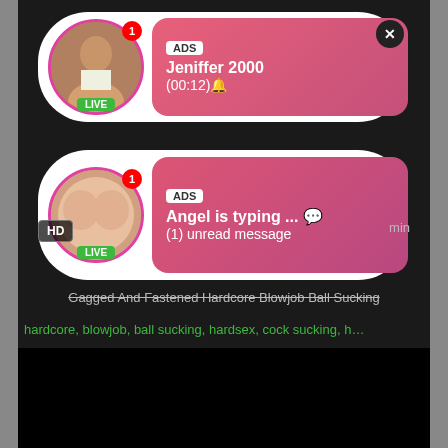[Figure (screenshot): Ad notification card 1: Avatar of woman with LIVE badge, notification dot showing 1, pink gradient content area with ADS label, name 'Jeniffer 2000', subtitle '(00:12)🔔', close X button]
[Figure (screenshot): Ad notification card 2: Avatar showing explicit content with LIVE badge, notification dot showing 1, pink gradient content area with ADS label, 'Angel is typing ... 💬', '(1) unread message', HD badge, min badge]
Gagged And Fastened Hardcore Blowjob Ball Sucking
hardcore, blowjob, ball sucking, hardsex, cock sucking, h...
[Figure (screenshot): Black video player area]